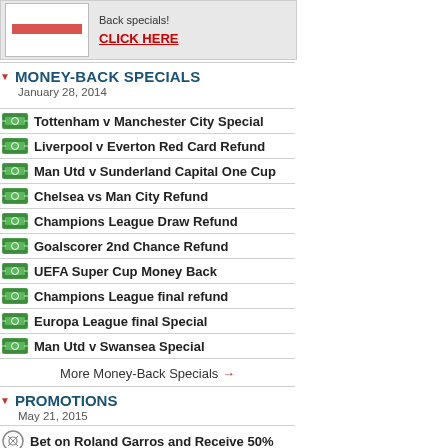[Figure (other): Banner ad with logo and Back specials CLICK HERE link]
MONEY-BACK SPECIALS
January 28, 2014
Tottenham v Manchester City Special
Liverpool v Everton Red Card Refund
Man Utd v Sunderland Capital One Cup
Chelsea vs Man City Refund
Champions League Draw Refund
Goalscorer 2nd Chance Refund
UEFA Super Cup Money Back
Champions League final refund
Europa League final Special
Man Utd v Swansea Special
More Money-Back Specials →
PROMOTIONS
May 21, 2015
Bet on Roland Garros and Receive 50%